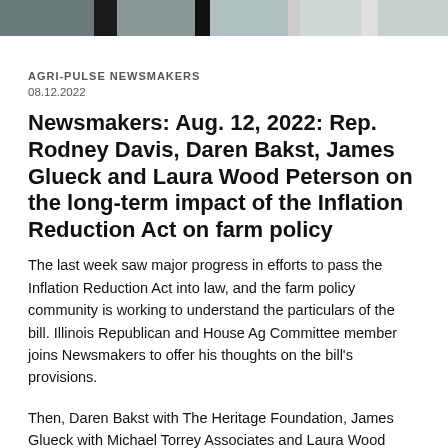[Figure (photo): Strip of photographs of newsmakers at the top of the page]
AGRI-PULSE NEWSMAKERS
08.12.2022
Newsmakers: Aug. 12, 2022: Rep. Rodney Davis, Daren Bakst, James Glueck and Laura Wood Peterson on the long-term impact of the Inflation Reduction Act on farm policy
The last week saw major progress in efforts to pass the Inflation Reduction Act into law, and the farm policy community is working to understand the particulars of the bill. Illinois Republican and House Ag Committee member joins Newsmakers to offer his thoughts on the bill's provisions.
Then, Daren Bakst with The Heritage Foundation, James Glueck with Michael Torrey Associates and Laura Wood